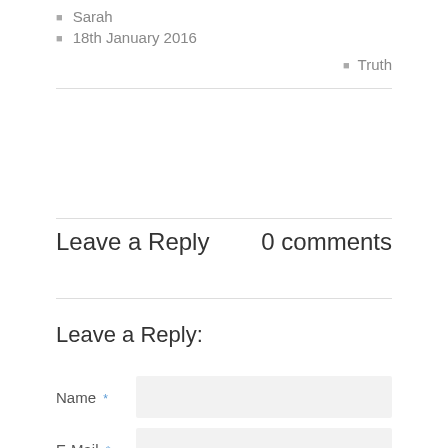Sarah
18th January 2016
Truth
Leave a Reply    0 comments
Leave a Reply:
Name *
E-Mail *